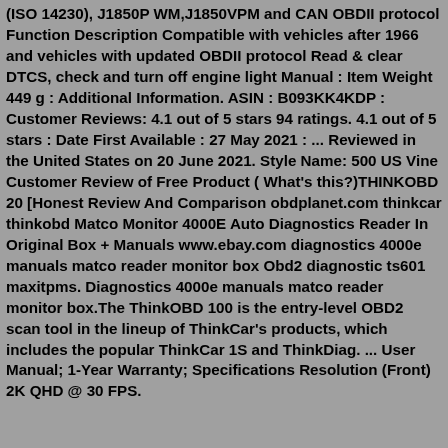(ISO 14230), J1850P WM,J1850VPM and CAN OBDII protocol Function Description Compatible with vehicles after 1966 and vehicles with updated OBDII protocol Read & clear DTCS, check and turn off engine light Manual : Item Weight 449 g : Additional Information. ASIN : B093KK4KDP : Customer Reviews: 4.1 out of 5 stars 94 ratings. 4.1 out of 5 stars : Date First Available : 27 May 2021 : ... Reviewed in the United States on 20 June 2021. Style Name: 500 US Vine Customer Review of Free Product ( What's this?)THINKOBD 20 [Honest Review And Comparison obdplanet.com thinkcar thinkobd Matco Monitor 4000E Auto Diagnostics Reader In Original Box + Manuals www.ebay.com diagnostics 4000e manuals matco reader monitor box Obd2 diagnostic ts601 maxitpms. Diagnostics 4000e manuals matco reader monitor box.The ThinkOBD 100 is the entry-level OBD2 scan tool in the lineup of ThinkCar's products, which includes the popular ThinkCar 1S and ThinkDiag. ... User Manual; 1-Year Warranty; Specifications Resolution (Front) 2K QHD @ 30 FPS.